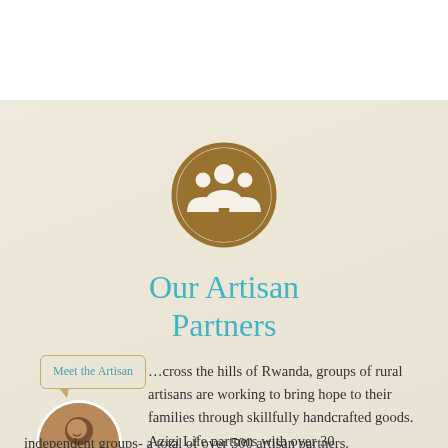[Figure (illustration): A circular icon showing three people silhouettes in white on a golden-brown circle outline, representing artisan partners.]
Our Artisan Partners
[Figure (illustration): A speech bubble label reading 'Meet the Artisan' with a rounded rectangle border in tan/gold color, with a downward pointer at the bottom-left.]
[Figure (photo): A circular cropped photo of a smiling woman artisan from Rwanda.]
Across the hills of Rwanda, groups of rural artisans are working to bring hope to their families through skillfully handcrafted goods. Azizi Life partners with over 30 independent groups- a total of over 500 artisan partners.